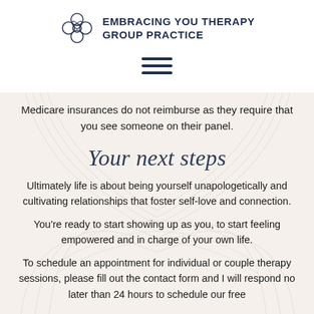[Figure (logo): Embracing You Therapy Group Practice logo with floral/clover emblem and text]
[Figure (other): Hamburger menu icon with three horizontal lines]
Medicare insurances do not reimburse as they require that you see someone on their panel.
Your next steps
Ultimately life is about being yourself unapologetically and cultivating relationships that foster self-love and connection.
You're ready to start showing up as you, to start feeling empowered and in charge of your own life.
To schedule an appointment for individual or couple therapy sessions, please fill out the contact form and I will respond no later than 24 hours to schedule our free